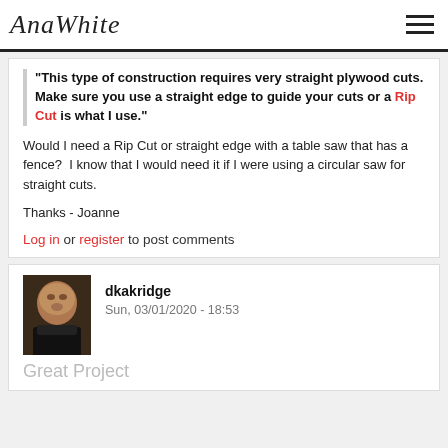AnaWhite
"This type of construction requires very straight plywood cuts. Make sure you use a straight edge to guide your cuts or a Rip Cut is what I use."
Would I need a Rip Cut or straight edge with a table saw that has a fence?  I know that I would need it if I were using a circular saw for straight cuts.
Thanks - Joanne
Log in or register to post comments
dkakridge
Sun, 03/01/2020 - 18:53
Great Project